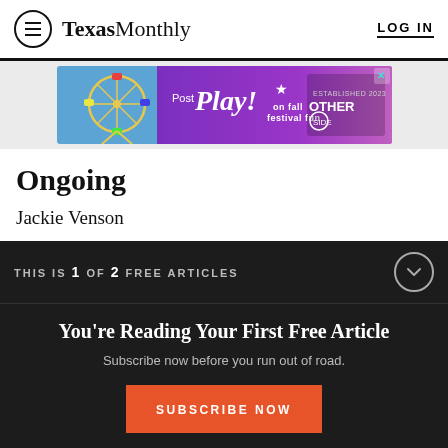Texas Monthly — LOG IN
[Figure (other): Advertisement banner: purple background with ferris wheel image, 'Post Play! on fall festival fun' text, and 'Other Side' logo]
Ongoing
Jackie Venson
THIS IS 1 OF 2 FREE ARTICLES
You're Reading Your First Free Article
Subscribe now before you run out of road.
SUBSCRIBE NOW
Already a subscriber? Log in